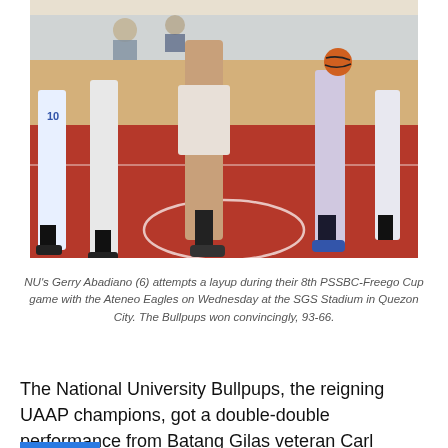[Figure (photo): Basketball game photo showing players' legs during a layup attempt on a red court floor, with players wearing basketball sneakers and uniforms, spectators visible in the background.]
NU's Gerry Abadiano (6) attempts a layup during their 8th PSSBC-Freego Cup game with the Ateneo Eagles on Wednesday at the SGS Stadium in Quezon City. The Bullpups won convincingly, 93-66.
The National University Bullpups, the reigning UAAP champions, got a double-double performance from Batang Gilas veteran Carl Tamayo and steamrollered the Ateneo Eaglets, 93-66, to move within a win from becoming the first school to win